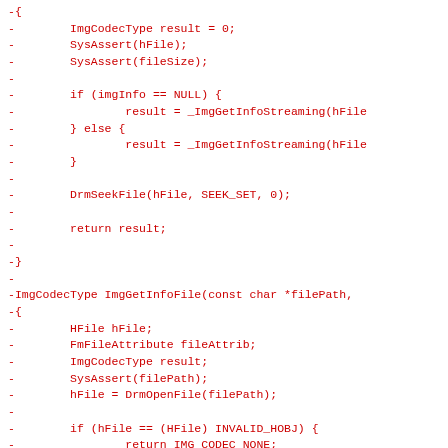[Figure (screenshot): Code diff snippet in red monospace font showing removed lines (prefixed with '-') of C source code. Functions include ImgGetInfoStreaming and ImgGetInfoFile with file handling logic using DRM and SysAssert calls.]